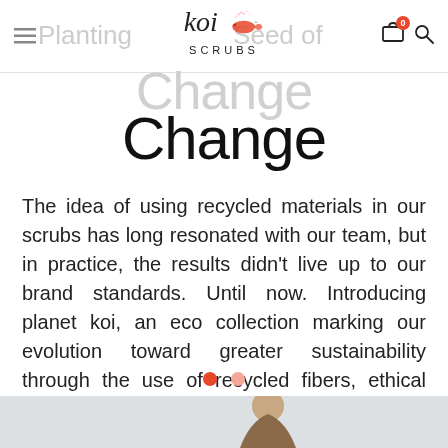Planting the Seed of Change — Koi Scrubs
Planting the Seed of Change
The idea of using recycled materials in our scrubs has long resonated with our team, but in practice, the results didn't live up to our brand standards. Until now. Introducing planet koi, an eco collection marking our evolution toward greater sustainability through the use of recycled fibers, ethical sourcing and biodegradable packagi
[Figure (photo): Bottom of page showing partial figure of a person, grey background]
[Figure (logo): Koi Scrubs logo with koi fish illustration, italic koi text and SCRUBS lettering]